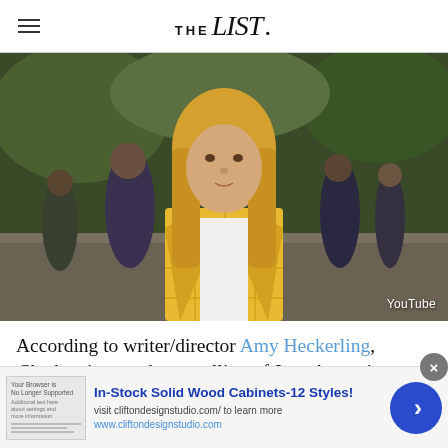THE list.
[Figure (photo): Screenshot from the movie Clueless showing a blonde teenage girl in a yellow plaid blazer standing outdoors in a school setting with other students in the background. YouTube watermark visible in the bottom right.]
According to writer/director Amy Heckerling, Clueless is a modern retelling of Jane Austen's Emma
YouTube